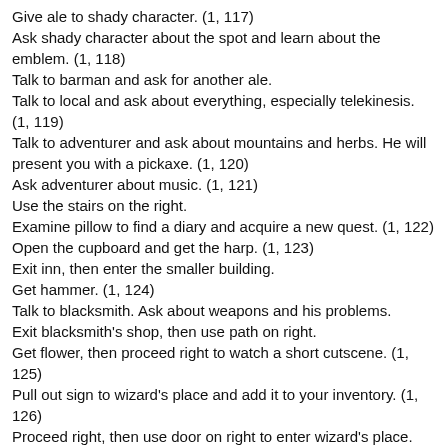Give ale to shady character. (1, 117)
Ask shady character about the spot and learn about the emblem. (1, 118)
Talk to barman and ask for another ale.
Talk to local and ask about everything, especially telekinesis. (1, 119)
Talk to adventurer and ask about mountains and herbs. He will present you with a pickaxe. (1, 120)
Ask adventurer about music. (1, 121)
Use the stairs on the right.
Examine pillow to find a diary and acquire a new quest. (1, 122)
Open the cupboard and get the harp. (1, 123)
Exit inn, then enter the smaller building.
Get hammer. (1, 124)
Talk to blacksmith. Ask about weapons and his problems.
Exit blacksmith's shop, then use path on right.
Get flower, then proceed right to watch a short cutscene. (1, 125)
Pull out sign to wizard's place and add it to your inventory. (1, 126)
Proceed right, then use door on right to enter wizard's place.